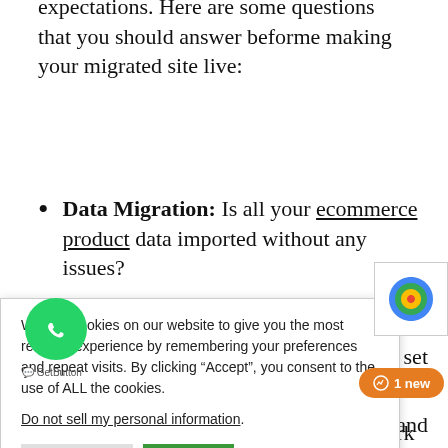expectations. Here are some questions that you should answer beforme making your migrated site live:
Data Migration: Is all your ecommerce product data imported without any issues?
Data Organization: Are all of the collections set
u items work
nigrated and
We use cookies on our website to give you the most relevant experience by remembering your preferences and repeat visits. By clicking “Accept”, you consent to the use of ALL the cookies. Do not sell my personal information.
Web Design: Does the site design work